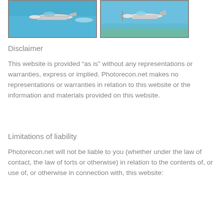[Figure (photo): Two photographs of aircraft in flight against blue sky backgrounds, side by side]
Disclaimer
This website is provided “as is” without any representations or warranties, express or implied. Photorecon.net makes no representations or warranties in relation to this website or the information and materials provided on this website.
Limitations of liability
Photorecon.net will not be liable to you (whether under the law of contact, the law of torts or otherwise) in relation to the contents of, or use of, or otherwise in connection with, this website: